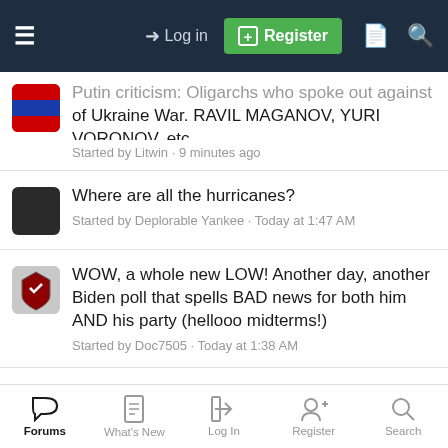Log in | Register
Putin criticism: Oligarchs who spoke out against Ukraine War. RAVIL MAGANOV, YURI VORONOV, etc. Started by Litwin · 9 minutes ago
Where are all the hurricanes? Started by Deplorable Yankee · Today at 1:47 AM
WOW, a whole new LOW! Another day, another Biden poll that spells BAD news for both him AND his party (hellooo midterms!) Started by Doc7505 · Today at 1:38 AM
Apoplectic Rage Follows Special Master Decision in Trump Raid Case Started by Doc7505 · Today at 1:12 AM
Forums | What's New | Log In | Register | Search